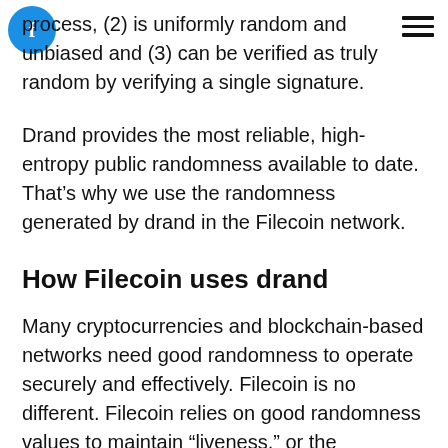Filecoin logo and navigation menu
process, (2) is uniformly random and unbiased and (3) can be verified as truly random by verifying a single signature.
Drand provides the most reliable, high-entropy public randomness available to date. That’s why we use the randomness generated by drand in the Filecoin network.
How Filecoin uses drand
Many cryptocurrencies and blockchain-based networks need good randomness to operate securely and effectively. Filecoin is no different. Filecoin relies on good randomness values to maintain “liveness,” or the consensus of all clients on the correct history of the Filecoin